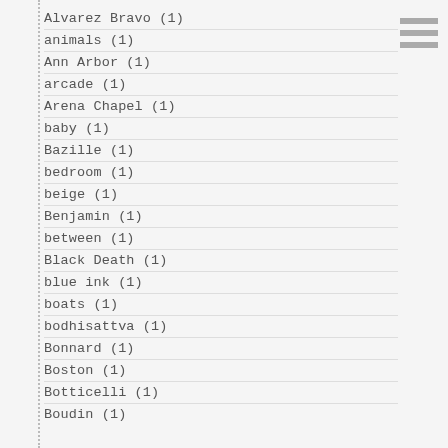Alvarez Bravo (1)
animals (1)
Ann Arbor (1)
arcade (1)
Arena Chapel (1)
baby (1)
Bazille (1)
bedroom (1)
beige (1)
Benjamin (1)
between (1)
Black Death (1)
blue ink (1)
boats (1)
bodhisattva (1)
Bonnard (1)
Boston (1)
Botticelli (1)
Boudin (1)